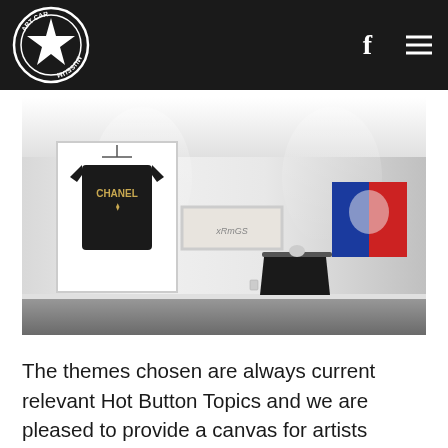Art Car Museum — navigation header with logo, Facebook icon, and hamburger menu
[Figure (photo): Interior gallery room with white walls. On the left wall hangs a framed black Chanel t-shirt on a hanger. In the center hangs a wide horizontal framed artwork. On the right wall hangs a colorful pop-art style portrait in red, white, and blue. In the center of the room is a round table draped with a black cloth.]
The themes chosen are always current relevant Hot Button Topics and we are pleased to provide a canvas for artists